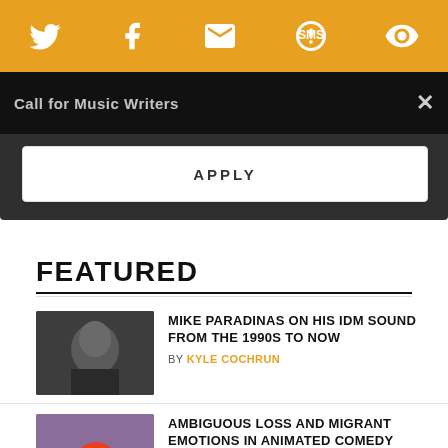Social share bar with Twitter, Facebook, Email, SMS, and another icon
Call for Music Writers
APPLY
FEATURED
MIKE PARADINAS ON HIS IDM SOUND FROM THE 1990S TO NOW
BY KYLE COCHRUN
AMBIGUOUS LOSS AND MIGRANT EMOTIONS IN ANIMATED COMEDY 'VIVO'
BY KEVIN ANZZOLIN
BLONDIE'S CAREER GIVEN EPIC TRIBUTE IN